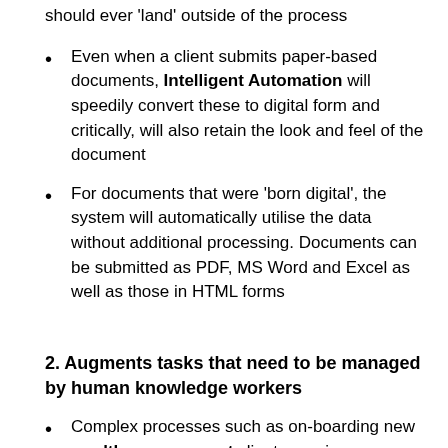should ever 'land' outside of the process
Even when a client submits paper-based documents, Intelligent Automation will speedily convert these to digital form and critically, will also retain the look and feel of the document
For documents that were 'born digital', the system will automatically utilise the data without additional processing. Documents can be submitted as PDF, MS Word and Excel as well as those in HTML forms
2. Augments tasks that need to be managed by human knowledge workers
Complex processes such as on-boarding new wealth management clients require substantial tacit knowledge, and thus need to be managed & driven by